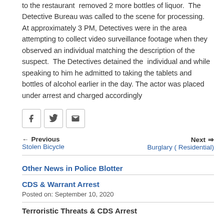to the restaurant removed 2 more bottles of liquor. The Detective Bureau was called to the scene for processing. At approximately 3 PM, Detectives were in the area attempting to collect video surveillance footage when they observed an individual matching the description of the suspect. The Detectives detained the individual and while speaking to him he admitted to taking the tablets and bottles of alcohol earlier in the day. The actor was placed under arrest and charged accordingly
[Figure (infographic): Social share buttons: Facebook, Twitter, Email]
← Previous Stolen Bicycle | Next → Burglary ( Residential)
Other News in Police Blotter
CDS & Warrant Arrest
Posted on: September 10, 2020
Terroristic Threats & CDS Arrest